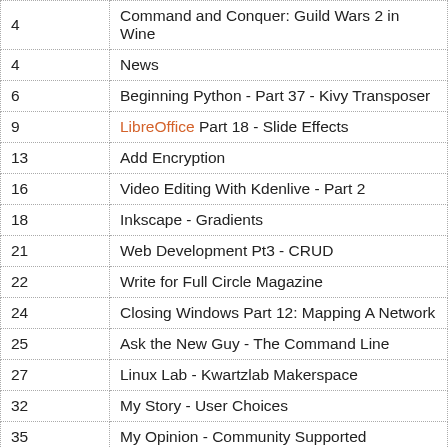| Page | Title |
| --- | --- |
| 4 | Command and Conquer: Guild Wars 2 in Wine |
| 4 | News |
| 6 | Beginning Python - Part 37 - Kivy Transposer |
| 9 | LibreOffice Part 18 - Slide Effects |
| 13 | Add Encryption |
| 16 | Video Editing With Kdenlive - Part 2 |
| 18 | Inkscape - Gradients |
| 21 | Web Development Pt3 - CRUD |
| 22 | Write for Full Circle Magazine |
| 24 | Closing Windows Part 12: Mapping A Network |
| 25 | Ask the New Guy - The Command Line |
| 27 | Linux Lab - Kwartzlab Makerspace |
| 32 | My Story - User Choices |
| 35 | My Opinion - Community Supported |
| 42 | Book Review - Ubuntu Made Easy |
| 44 | Review - Ubuntu Manuals |
| 48 | Letters |
| 51 | Q & A |
| 54 | ... |